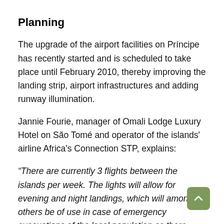Planning
The upgrade of the airport facilities on Príncipe has recently started and is scheduled to take place until February 2010, thereby improving the landing strip, airport infrastructures and adding runway illumination.
Jannie Fourie, manager of Omali Lodge Luxury Hotel on São Tomé and operator of the islands' airline Africa's Connection STP, explains:
“There are currently 3 flights between the islands per week. The lights will allow for evening and night landings, which will amongst others be of use in case of emergency evacuations of the local population as there limited medical services on Príncipe.”